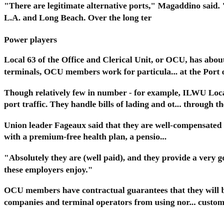"There are legitimate alternative ports," Magaddino said. "...competitiveness of L.A. and Long Beach. Over the long ter...
Power players
Local 63 of the Office and Clerical Unit, or OCU, has about 8... port's shipping terminals, OCU members work for particula... at the Port of Los Angeles.
Though relatively few in number - for example, ILWU Local ... crucial role in port traffic. They handle bills of lading and ot... through the ports each year.
Union leader Fageaux said that they are well-compensated ... $84,240 per year - with a premium-free health plan, a pensio...
"Absolutely they are (well paid), and they provide a very go... of the great profits these employers enjoy."
OCU members have contractual guarantees that they will be... shipping companies and terminal operators from using nor... customers to do it themselves.